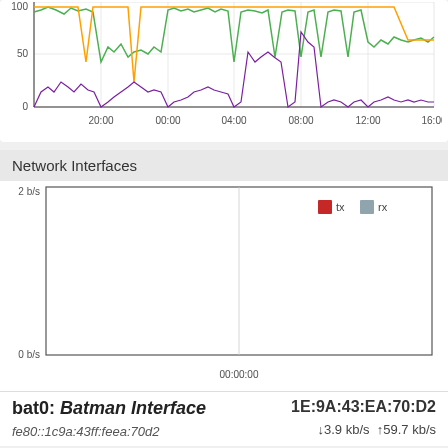[Figure (continuous-plot): Time series network traffic chart with green, orange/gold, and purple lines. Y-axis shows values 0, 50, 100. X-axis time labels: 20:00, 00:00, 04:00, 08:00, 12:00, 16:00.]
Network Interfaces
[Figure (continuous-plot): Empty network interface traffic chart showing 0 b/s to 2 b/s range. Time axis shows 00:00:00. Legend shows tx (red) and rx (blue).]
bat0: Batman Interface   1E:9A:43:EA:70:D2
fe80::1c9a:43ff:feea:70d2   ↓3.9 kb/s ↑59.7 kb/s